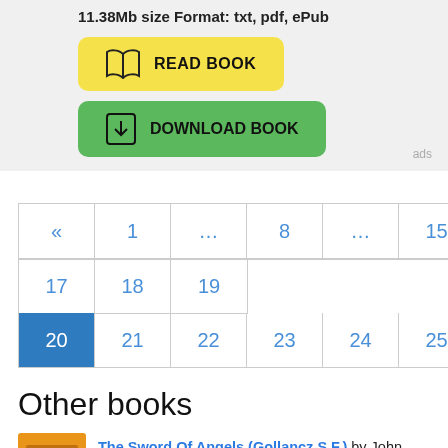11.38Mb size Format: txt, pdf, ePub
[Figure (other): Yellow READ BOOK button with open book icon]
[Figure (other): Green DOWNLOAD BOOK button with download icon]
ads
[Figure (other): Pagination control: « 1 ... 8 ... 15 16 17 18 19 on row 1; 20 (active/highlighted) 21 22 23 24 25 » on row 2]
Other books
The Sword Of Angels (Gollancz S.F.) by John Marco
[Figure (illustration): Orange book cover thumbnail]